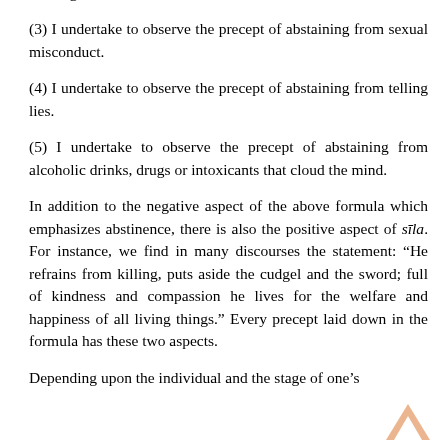stealing.
(3) I undertake to observe the precept of abstaining from sexual misconduct.
(4) I undertake to observe the precept of abstaining from telling lies.
(5) I undertake to observe the precept of abstaining from alcoholic drinks, drugs or intoxicants that cloud the mind.
In addition to the negative aspect of the above formula which emphasizes abstinence, there is also the positive aspect of sīla. For instance, we find in many discourses the statement: “He refrains from killing, puts aside the cudgel and the sword; full of kindness and compassion he lives for the welfare and happiness of all living things.” Every precept laid down in the formula has these two aspects.
Depending upon the individual and the stage of one’s